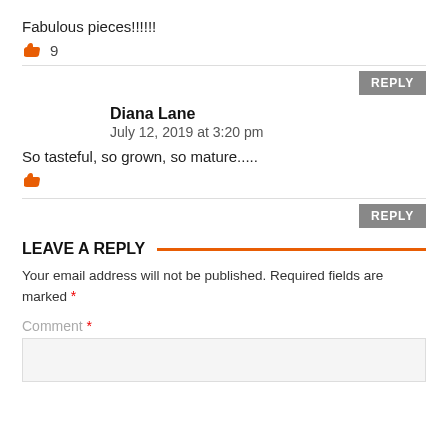Fabulous pieces!!!!!!
[Figure (other): Thumbs up icon with like count: 9]
REPLY
Diana Lane
July 12, 2019 at 3:20 pm
So tasteful, so grown, so mature.....
[Figure (other): Thumbs up icon (no count)]
REPLY
LEAVE A REPLY
Your email address will not be published. Required fields are marked *
Comment *